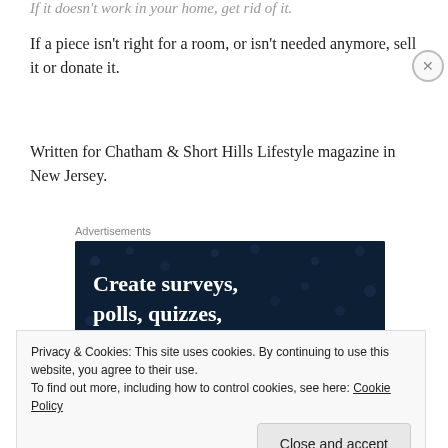If it doesn't work in your home, get rid of it.
If a piece isn't right for a room, or isn't needed anymore, sell it or donate it.
Written for Chatham & Short Hills Lifestyle magazine in New Jersey.
Advertisements
[Figure (screenshot): Dark navy blue advertisement banner with white bold serif text reading 'Create surveys, polls, quizzes, and forms' with decorative dot pattern in background.]
Privacy & Cookies: This site uses cookies. By continuing to use this website, you agree to their use.
To find out more, including how to control cookies, see here: Cookie Policy
Close and accept